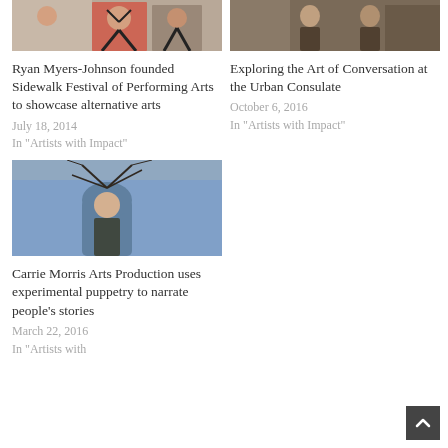[Figure (photo): Two people dancing, one in red dress with arms raised]
Ryan Myers-Johnson founded Sidewalk Festival of Performing Arts to showcase alternative arts
July 18, 2014
In "Artists with Impact"
[Figure (photo): Two people in suits standing in a room with shelves]
Exploring the Art of Conversation at the Urban Consulate
October 6, 2016
In "Artists with Impact"
[Figure (photo): Woman with glasses holding plant decorations against a blue wall]
Carrie Morris Arts Production uses experimental puppetry to narrate people's stories
March 22, 2016
In "Artists with